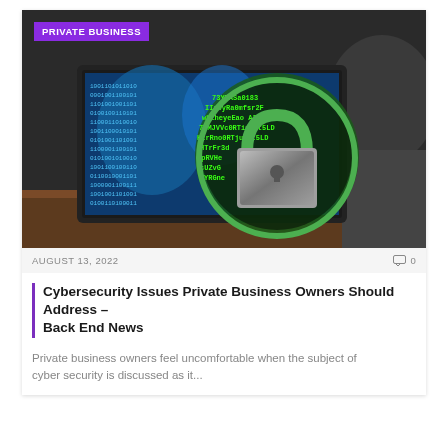[Figure (photo): Person viewed from behind looking at a laptop screen showing a world map with binary code and a large padlock icon with green outline representing cybersecurity]
PRIVATE BUSINESS
AUGUST 13, 2022
0
Cybersecurity Issues Private Business Owners Should Address – Back End News
Private business owners feel uncomfortable when the subject of cyber security is discussed as it...